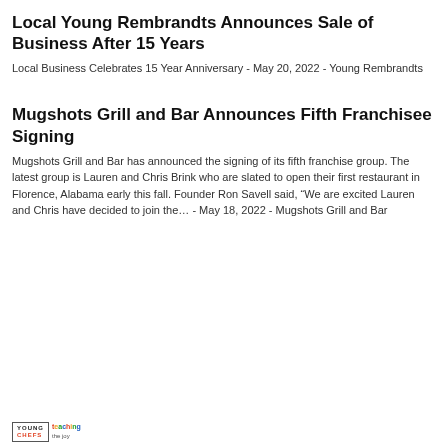Local Young Rembrandts Announces Sale of Business After 15 Years
Local Business Celebrates 15 Year Anniversary - May 20, 2022 - Young Rembrandts
Mugshots Grill and Bar Announces Fifth Franchisee Signing
Mugshots Grill and Bar has announced the signing of its fifth franchise group. The latest group is Lauren and Chris Brink who are slated to open their first restaurant in Florence, Alabama early this fall. Founder Ron Savell said, “We are excited Lauren and Chris have decided to join the... - May 18, 2022 - Mugshots Grill and Bar
[Figure (logo): Young Chefs Academy logo with colorful 'teaching' text beside it]